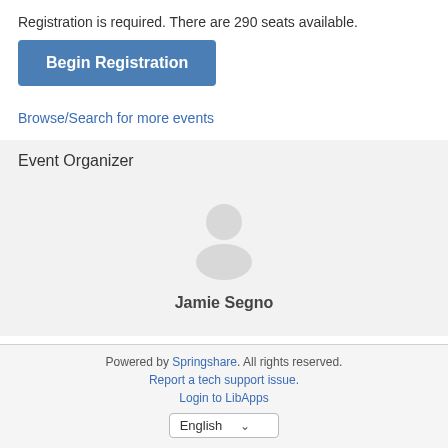Registration is required. There are 290 seats available.
Begin Registration
Browse/Search for more events
Event Organizer
[Figure (illustration): Generic user avatar icon (grey silhouette of a person)]
Jamie Segno
Powered by Springshare. All rights reserved. Report a tech support issue. Login to LibApps English